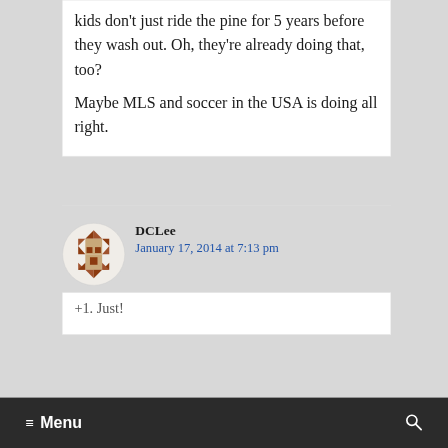kids don't just ride the pine for 5 years before they wash out. Oh, they're already doing that, too?

Maybe MLS and soccer in the USA is doing all right.
DCLee
January 17, 2014 at 7:13 pm
+1. Just!
≡ Menu